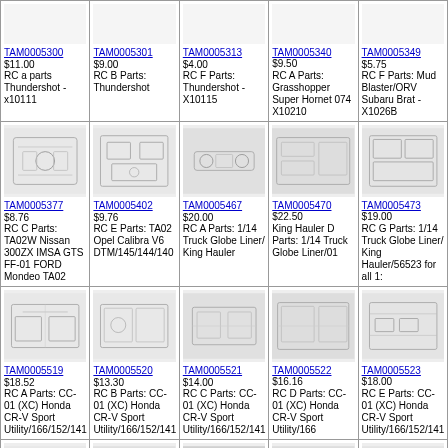| TAM0005300 $11.00
RC a parts Thundershot - x10111 | TAM0005301 $9.00
RC B Parts: Thundershot | TAM0005313 $4.00
RC F Parts: Thundershot - X10115 | TAM0005340 $9.50
RC A Parts: Grasshopper Super Hornet 074 X10210 | TAM0005349 $5.75
RC F Parts: Mud Blaster/ORV Subaru Brat - X1026B |
| TAM0005377 $8.76
RC C Parts: TA02W Nissan 300ZX IMSA GTS FF-01 FORD Mondeo TA02 | TAM0005402 $9.76
RC E Parts: TA02 Opel Calibra V6 DTM/145/144/140 | TAM0005467 $20.00
RC A Parts: 1/14 Truck Globe Liner/ King Hauler | TAM0005470 $22.50
King Hauler D Parts: 1/14 Truck Globe Liner/01 | TAM0005473 $19.00
RC G Parts: 1/14 Truck Globe Liner/ King Hauler/56523 for all 1: |
| TAM0005519 $18.52
RC A Parts: CC-01 (XC) Honda CR-V Sport Utility/166/152/141 | TAM0005520 $13.30
RC B Parts: CC-01 (XC) Honda CR-V Sport Utility/166/152/141 | TAM0005521 $14.00
RC C Parts: CC-01 (XC) Honda CR-V Sport Utility/166/152/141 | TAM0005522 $16.16
RC D Parts: CC-01 (XC) Honda CR-V Sport Utility/166 | TAM0005523 $18.00
RC E Parts: CC-01 (XC) Honda CR-V Sport Utility/166/152/141 |
| TAM0005598 $12.50
RC B Parts: TA02SW Taisan Porsche 911 GT2 | TAM0005713 $11.00
RC A Parts: WR-01 Wild Dagger | TAM0005746 $16.00
RC D Parts: Wild Willy 2/WR-02 Volkswagen Type 2 Wheelie | TAM0005747 $7.06
RC E Parts: WR-02 Wild Willy 2 | TAM0005748 $21.86
F Parts: Wild Willy 2/WR-02 Volkswagen Type 2 Wheelie/WR-02C |